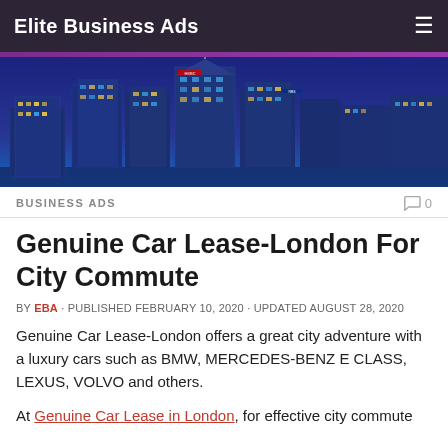Elite Business Ads
[Figure (photo): Night cityscape of London Canary Wharf financial district with illuminated skyscrapers against a dark blue sky]
BUSINESS ADS
Genuine Car Lease-London For City Commute
BY EBA · PUBLISHED FEBRUARY 10, 2020 · UPDATED AUGUST 28, 2020
Genuine Car Lease-London offers a great city adventure with a luxury cars such as BMW, MERCEDES-BENZ E CLASS, LEXUS, VOLVO and others.
At Genuine Car Lease in London, for effective city commute